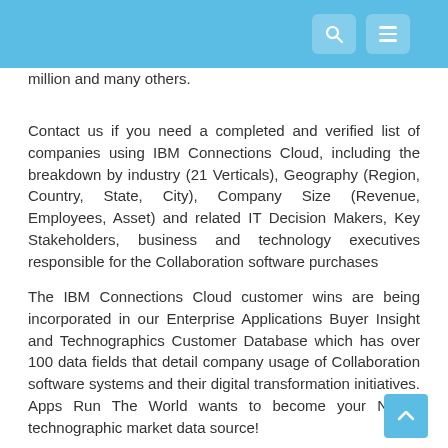million and many others.
Contact us if you need a completed and verified list of companies using IBM Connections Cloud, including the breakdown by industry (21 Verticals), Geography (Region, Country, State, City), Company Size (Revenue, Employees, Asset) and related IT Decision Makers, Key Stakeholders, business and technology executives responsible for the Collaboration software purchases
The IBM Connections Cloud customer wins are being incorporated in our Enterprise Applications Buyer Insight and Technographics Customer Database which has over 100 data fields that detail company usage of Collaboration software systems and their digital transformation initiatives. Apps Run The World wants to become your No. 1 technographic market data source!